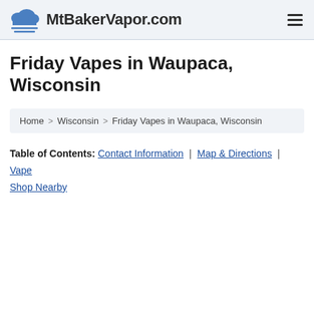MtBakerVapor.com
Friday Vapes in Waupaca, Wisconsin
Home > Wisconsin > Friday Vapes in Waupaca, Wisconsin
Table of Contents: Contact Information | Map & Directions | Vape Shop Nearby